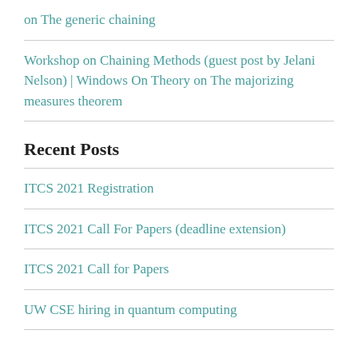on The generic chaining
Workshop on Chaining Methods (guest post by Jelani Nelson) | Windows On Theory on The majorizing measures theorem
Recent Posts
ITCS 2021 Registration
ITCS 2021 Call For Papers (deadline extension)
ITCS 2021 Call for Papers
UW CSE hiring in quantum computing